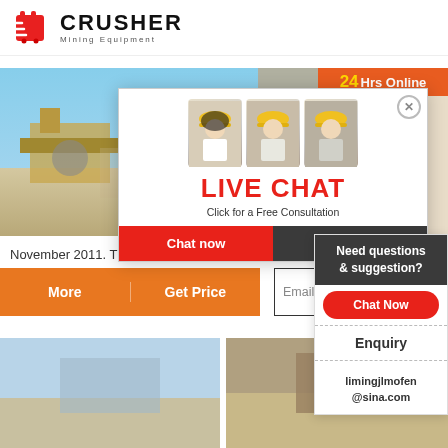[Figure (logo): CRUSHER Mining Equipment logo with red shopping bag icon and bold text]
[Figure (photo): Mining equipment and workers site photo on left]
[Figure (screenshot): Live chat popup overlay with workers in hard hats, LIVE CHAT title, Chat now and Chat later buttons]
[Figure (photo): 24Hrs Online orange bar with female consultant with headset on right]
November 2011. Their rise to the 6th largest A... cc
[Figure (infographic): Orange CTA buttons: More and Get Price, plus Email contact input field]
[Figure (infographic): Sidebar panel: Need questions & suggestion? Chat Now button, Enquiry section, limingjlmofen@sina.com]
[Figure (photo): Bottom row: two small site/equipment photos]